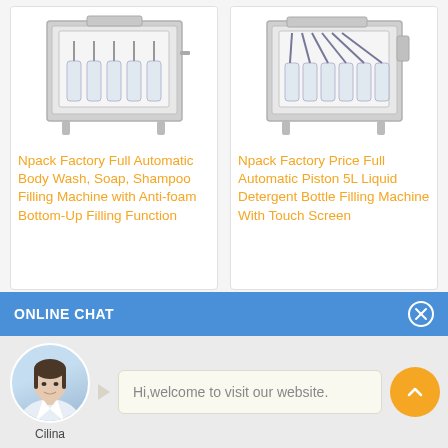[Figure (photo): Product card showing Npack full automatic body wash soap shampoo filling machine with anti-foam bottom-up filling function - industrial stainless steel filling machine]
Npack Factory Full Automatic Body Wash, Soap, Shampoo Filling Machine with Anti-foam Bottom-Up Filling Function
[Figure (photo): Product card showing Npack factory price full automatic piston 5L liquid detergent bottle filling machine with touch screen - industrial filling machine with multiple nozzles]
Npack Factory Price Full Automatic Piston 5L Liquid Detergent Bottle Filling Machine With Touch Screen
ONLINE CHAT
[Figure (photo): Chat avatar of a woman named Cilina with short hair wearing a white collared shirt]
Cilina
Hi,welcome to visit our website.